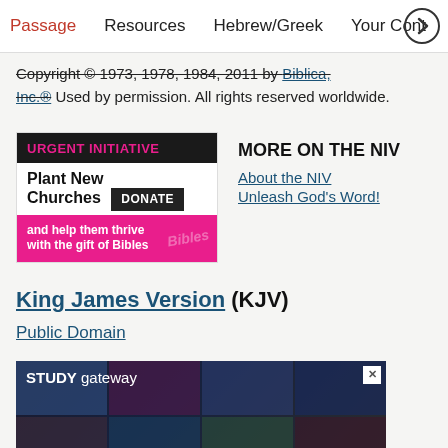Passage  Resources  Hebrew/Greek  Your Cont
Copyright © 1973, 1978, 1984, 2011 by Biblica, Inc.® Used by permission. All rights reserved worldwide.
[Figure (infographic): Advertisement box with black header 'URGENT INITIATIVE' in pink text, 'Plant New Churches' with a DONATE button, and a pink banner reading 'and help them thrive with the gift of Bibles']
MORE ON THE NIV
About the NIV
Unleash God's Word!
King James Version (KJV)
Public Domain
[Figure (screenshot): Study Gateway advertisement banner at the bottom of the page showing a grid of book covers and people]